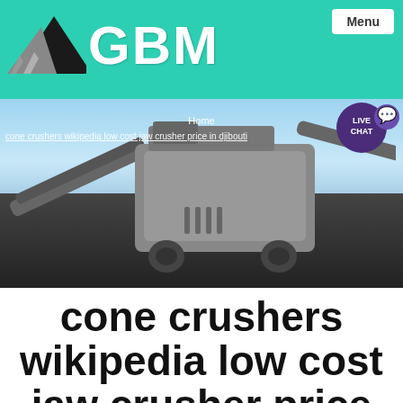GBM — Menu
[Figure (screenshot): GBM company logo with teal background, triangle/mountain icon and GBM text, with Menu button top-right]
[Figure (photo): Large mobile jaw crusher / screening machine on a dark aggregate pile with blue sky background. Breadcrumb navigation overlay: Home > cone crushers wikipedia low cost jaw crusher price in djibouti]
cone crushers wikipedia low cost jaw crusher price in djibouti